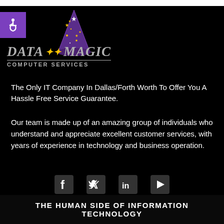[Figure (logo): Data Magic Computer Services logo with wizard hat, stars, and text on black background]
The Only IT Company In Dallas/Forth Worth To Offer You A Hassle Free Service Guarantee.
Our team is made up of an amazing group of individuals who understand and appreciate excellent customer services, with years of experience in technology and business operation.
[Figure (infographic): Social media icons row: Facebook, Twitter, LinkedIn, YouTube]
THE HUMAN SIDE OF INFORMATION TECHNOLOGY